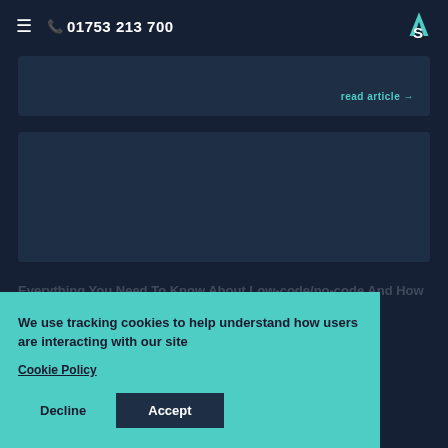01753 213 700
[Figure (logo): AS logo — teal triangle/chevron mark with letters AS in white on dark navy background]
[Figure (screenshot): Dark navy article card with 'Read article' teal link at bottom right]
[Figure (screenshot): Dark navy medium card, likely an article image placeholder]
Everything You Need To Know About Low-code/no-code And How Automation Is Used For Software Delivery
Whether you're responsible for software or are a
We use tracking cookies to help understand how users are interacting with our site
Cookie Policy
Decline
Accept